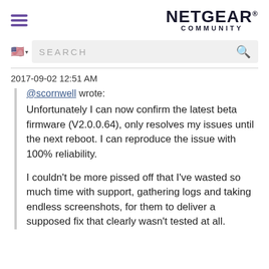NETGEAR COMMUNITY
[Figure (screenshot): Search bar with US flag icon and magnifying glass icon on grey background]
2017-09-02 12:51 AM
@scornwell wrote: Unfortunately I can now confirm the latest beta firmware (V2.0.0.64), only resolves my issues until the next reboot. I can reproduce the issue with 100% reliability.

I couldn't be more pissed off that I've wasted so much time with support, gathering logs and taking endless screenshots, for them to deliver a supposed fix that clearly wasn't tested at all.